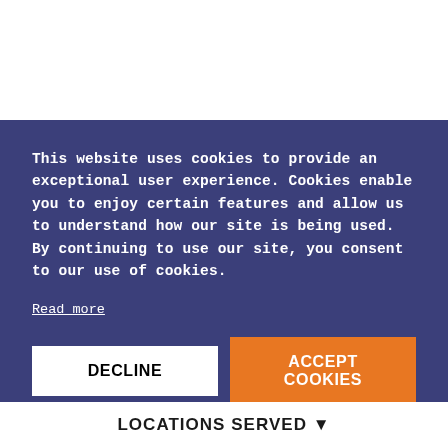This website uses cookies to provide an exceptional user experience. Cookies enable you to enjoy certain features and allow us to understand how our site is being used. By continuing to use our site, you consent to our use of cookies.
Read more
DECLINE
ACCEPT COOKIES
LOCATIONS SERVED ▼